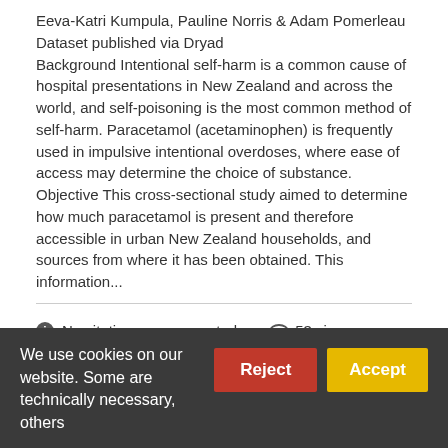Eeva-Katri Kumpula, Pauline Norris & Adam Pomerleau
Dataset published via Dryad
Background Intentional self-harm is a common cause of hospital presentations in New Zealand and across the world, and self-poisoning is the most common method of self-harm. Paracetamol (acetaminophen) is frequently used in impulsive intentional overdoses, where ease of access may determine the choice of substance. Objective This cross-sectional study aimed to determine how much paracetamol is present and therefore accessible in urban New Zealand households, and sources from where it has been obtained. This information...
No citations were reported.   53 views   9 downloads
https://doi.org/10.5061/dryad.zqmsbcc7w
We use cookies on our website. Some are technically necessary, others help us...